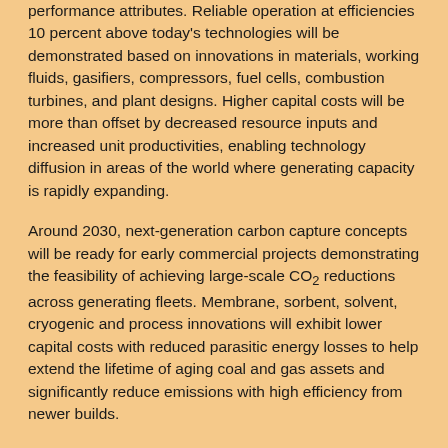performance attributes. Reliable operation at efficiencies 10 percent above today's technologies will be demonstrated based on innovations in materials, working fluids, gasifiers, compressors, fuel cells, combustion turbines, and plant designs. Higher capital costs will be more than offset by decreased resource inputs and increased unit productivities, enabling technology diffusion in areas of the world where generating capacity is rapidly expanding.
Around 2030, next-generation carbon capture concepts will be ready for early commercial projects demonstrating the feasibility of achieving large-scale CO2 reductions across generating fleets. Membrane, sorbent, solvent, cryogenic and process innovations will exhibit lower capital costs with reduced parasitic energy losses to help extend the lifetime of aging coal and gas assets and significantly reduce emissions with high efficiency from newer builds.
AREAS OF FOCUS
The 5-year Generation Sector program plans address